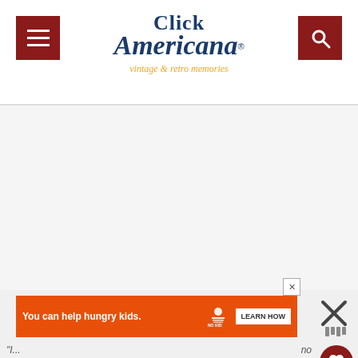Click Americana — vintage & retro memories
[Figure (screenshot): Large blank/white content area of a webpage]
[Figure (infographic): WHAT'S NEXT button with Revell jet plane thumbnail]
[Figure (infographic): Advertisement banner: You can help hungry kids. No Kid Hungry. LEARN HOW]
"I...